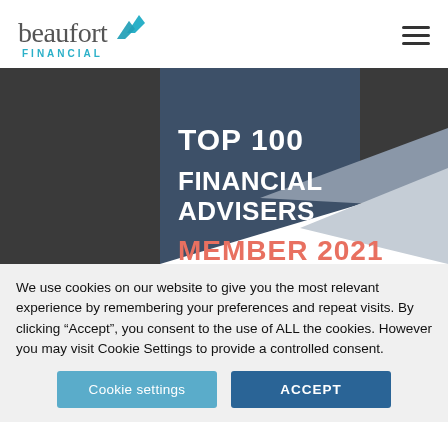[Figure (logo): Beaufort Financial logo with teal chevron arrows and company name]
[Figure (other): Award badge showing 'TOP 100 FINANCIAL ADVISERS MEMBER 2021' with dark blue and grey geometric design and salmon/coral colored text]
We use cookies on our website to give you the most relevant experience by remembering your preferences and repeat visits. By clicking “Accept”, you consent to the use of ALL the cookies. However you may visit Cookie Settings to provide a controlled consent.
Cookie settings
ACCEPT